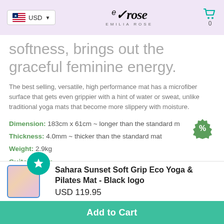Emilia Rose — USD — Cart 0
softness, brings out the graceful feminine energy.
The best selling, versatile, high performance mat has a microfiber surface that gets even grippier with a hint of water or sweat, unlike traditional yoga mats that become more slippery with moisture.
Dimension: 183cm x 61cm ~ longer than the standard m
Thickness: 4.0mm ~ thicker than the standard mat
Weight: 2.9kg
Suitable for:
Sahara Sunset Soft Grip Eco Yoga & Pilates Mat - Black logo
USD 119.95
Add to Cart